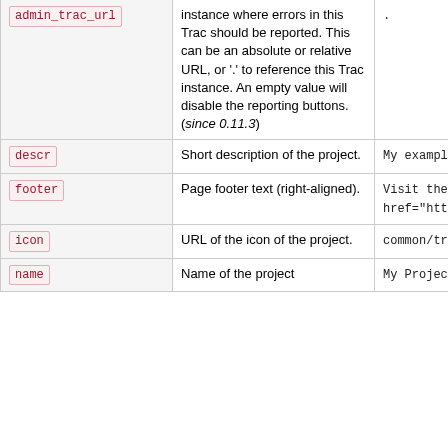| Key | Description | Default |
| --- | --- | --- |
| admin_trac_url | instance where errors in this Trac should be reported. This can be an absolute or relative URL, or '.' to reference this Trac instance. An empty value will disable the reporting buttons. (since 0.11.3) | . |
| descr | Short description of the project. | My example project |
| footer | Page footer text (right-aligned). | Visit the Trac open source p... href="http://trac.edgewall.c... |
| icon | URL of the icon of the project. | common/trac.ico |
| name | Name of the project | My Project |